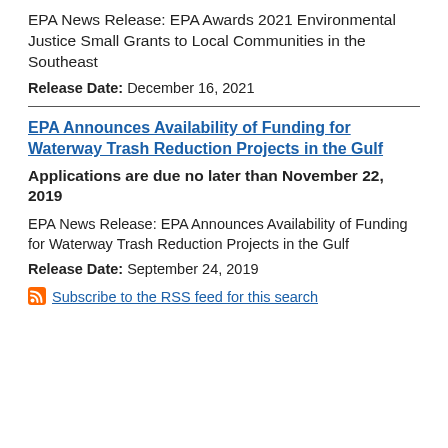EPA News Release: EPA Awards 2021 Environmental Justice Small Grants to Local Communities in the Southeast
Release Date: December 16, 2021
EPA Announces Availability of Funding for Waterway Trash Reduction Projects in the Gulf
Applications are due no later than November 22, 2019
EPA News Release: EPA Announces Availability of Funding for Waterway Trash Reduction Projects in the Gulf
Release Date: September 24, 2019
Subscribe to the RSS feed for this search